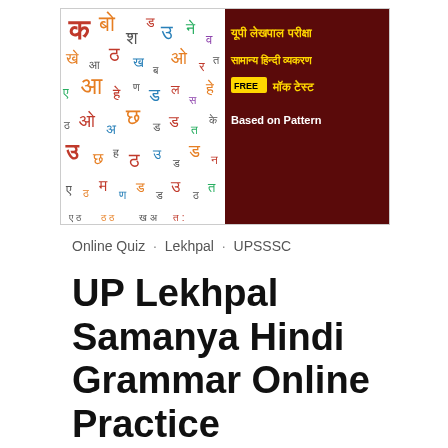[Figure (illustration): Banner image for UP Lekhpal exam Hindi grammar mock test. Left half shows colorful Hindi characters/text collage on white background. Right half is dark maroon with yellow text in Hindi: यूपी लेखपाल परीक्षा, सामान्य हिन्दी व्याकरण, FREE मॉक टेस्ट, and white text Based on Pattern.]
Online Quiz · Lekhpal · UPSSSC
UP Lekhpal Samanya Hindi Grammar Online Practice